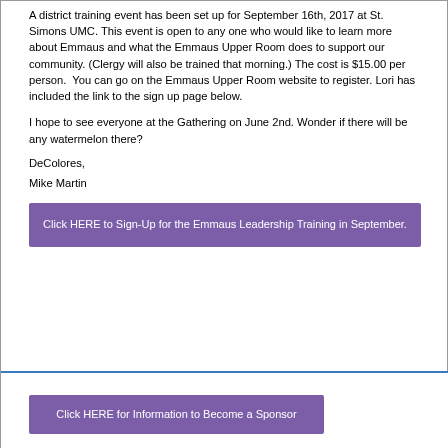A district training event has been set up for September 16th, 2017 at St. Simons UMC. This event is open to any one who would like to learn more about Emmaus and what the Emmaus Upper Room does to support our community. (Clergy will also be trained that morning.) The cost is $15.00 per person.  You can go on the Emmaus Upper Room website to register. Lori has included the link to the sign up page below.
I hope to see everyone at the Gathering on June 2nd. Wonder if there will be any watermelon there?
DeColores,
Mike Martin
Click HERE to Sign-Up for the Emmaus Leadership Training in September.
Click HERE for Information to Become a Sponsor